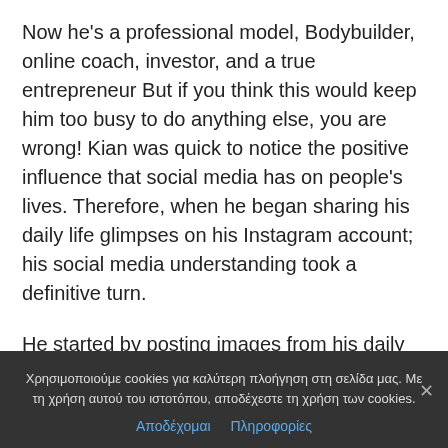Now he's a professional model, Bodybuilder, online coach, investor, and a true entrepreneur But if you think this would keep him too busy to do anything else, you are wrong! Kian was quick to notice the positive influence that social media has on people's lives. Therefore, when he began sharing his daily life glimpses on his Instagram account; his social media understanding took a definitive turn.
He started by posting images from his daily life, most of which were centered around his business. The common thread in all those images was his
Χρησιμοποιούμε cookies για καλύτερη πλοήγηση στη σελίδα μας. Με τη χρήση αυτού του ιστοτόπου, αποδέχεστε τη χρήση των cookies.
Αποδέχομαι   Πληροφορίες